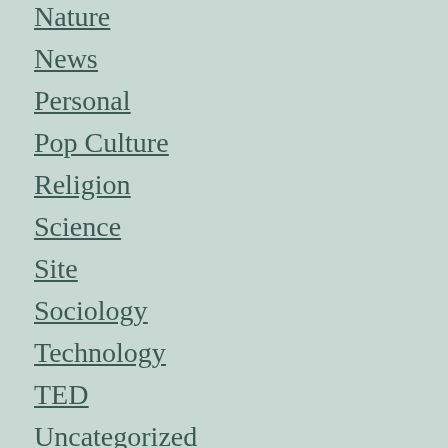Nature
News
Personal
Pop Culture
Religion
Science
Site
Sociology
Technology
TED
Uncategorized
Weird
Work